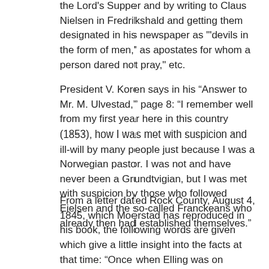the Lord's Supper and by writing to Claus Nielsen in Fredrikshald and getting them designated in his newspaper as "'devils in the form of men,' as apostates for whom a person dared not pray," etc.
President V. Koren says in his “Answer to Mr. M. Ulvestad,” page 8: “I remember well from my first year here in this country (1853), how I was met with suspicion and ill-will by many people just because I was a Norwegian pastor. I was not and have never been a Grundtvigian, but I was met with suspicion by those who followed Eielsen and the so-called Franckeans who already then had established themselves.”
From a letter dated Rock County, August 4, 1845, which Moerstad has reproduced in his book, the following words are given which give a little insight into the facts at that time: “Once when Elling was on Koshkonong Prairie with some others of his friends to conduct divine services, he